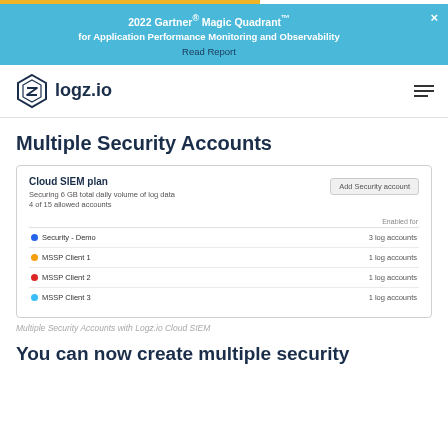2022 Gartner® Magic Quadrant™ for Application Performance Monitoring and Observability
Read Report
[Figure (logo): logz.io logo with hexagonal icon and bold text]
Multiple Security Accounts
[Figure (screenshot): Cloud SIEM plan interface showing Multiple Security Accounts with 4 of 15 allowed accounts. Table shows Security-Demo (3 log accounts), MSSP Client 1 (1 log accounts), MSSP Client 2 (1 log accounts), MSSP Client 3 (1 log accounts). Add Security account button in top right.]
Multiple Security Accounts with Logz.io Cloud SIEM
You can now create multiple security